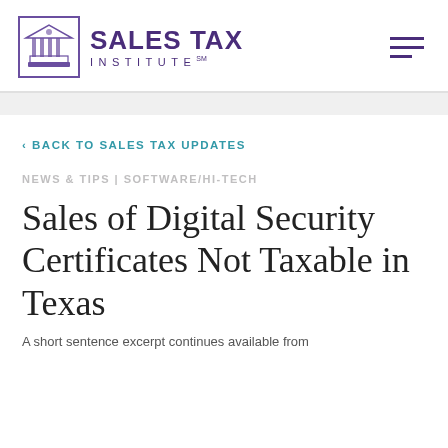SALES TAX INSTITUTE
< BACK TO SALES TAX UPDATES
NEWS & TIPS | SOFTWARE/HI-TECH
Sales of Digital Security Certificates Not Taxable in Texas
A short sentence excerpt continues available from...